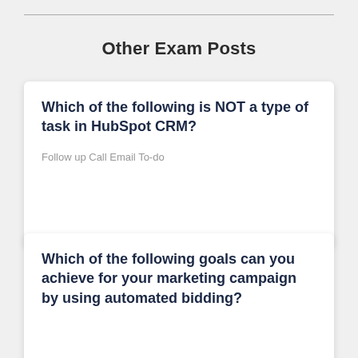Other Exam Posts
Which of the following is NOT a type of task in HubSpot CRM?
Follow up Call Email To-do
Which of the following goals can you achieve for your marketing campaign by using automated bidding?